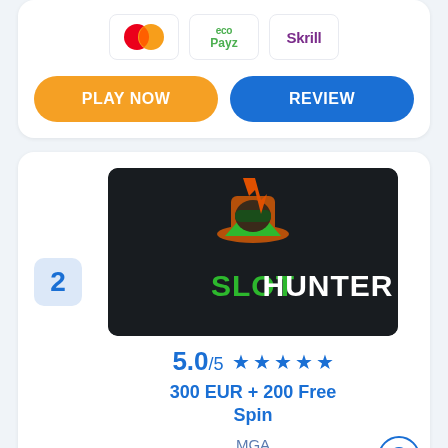[Figure (logo): Payment logos: MasterCard, ecoPayz, Skrill]
PLAY NOW
REVIEW
2
[Figure (logo): Slot Hunter casino logo on dark background with bandit character]
5.0/5 ★★★★★
300 EUR + 200 Free Spin
MGA
2500+ Game